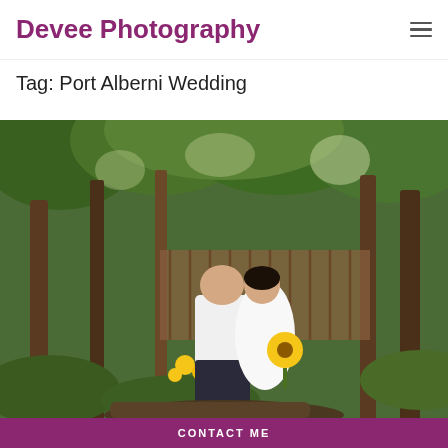Devee Photography
Tag: Port Alberni Wedding
[Figure (photo): Wedding photo of a couple in a forested outdoor setting. The groom, wearing a white shirt and dark pants, is carrying the bride who is dressed in a white gown and holding a sunflower bouquet. They are kissing. The background shows tall trees, green foliage, and a wooden fence.]
CONTACT ME